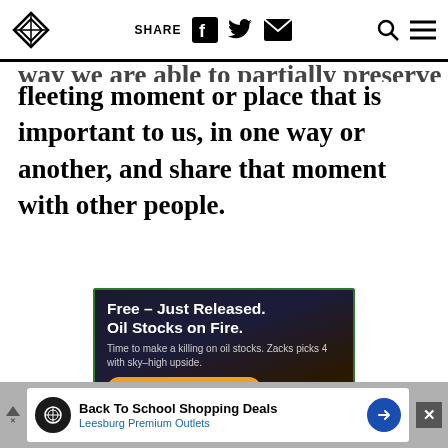SHARE
fleeting moment or place that is important to us, in one way or another, and share that moment with other people.
[Figure (infographic): Advertisement: Free – Just Released. Oil Stocks on Fire. Time to make a killing on oil stocks. Zacks picks 4 with sky-high upside. See 4 Stocks Free button. Dark background with oil barrel imagery.]
[Figure (infographic): Bottom banner advertisement: Back To School Shopping Deals – Leesburg Premium Outlets. White banner with circular logo and blue arrow icon, close button.]